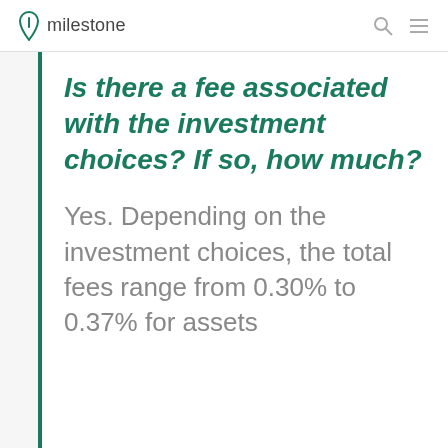milestone
Is there a fee associated with the investment choices? If so, how much?
Yes. Depending on the investment choices, the total fees range from 0.30% to 0.37% for assets